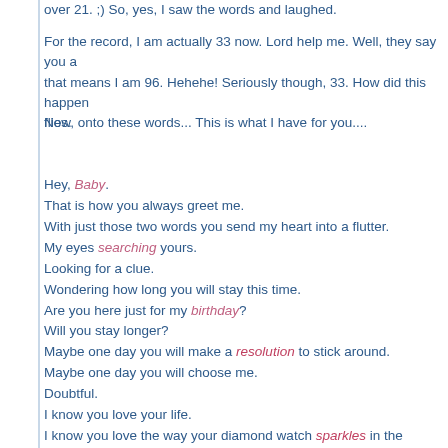over 21. ;) So, yes, I saw the words and laughed.
For the record, I am actually 33 now. Lord help me. Well, they say you are as young as you feel, and if that means I am 96. Hehehe! Seriously though, 33. How did this happen? Time really flies.
Now, onto these words... This is what I have for you....
Hey, Baby.
That is how you always greet me.
With just those two words you send my heart into a flutter.
My eyes searching yours.
Looking for a clue.
Wondering how long you will stay this time.
Are you here just for my birthday?
Will you stay longer?
Maybe one day you will make a resolution to stick around.
Maybe one day you will choose me.
Doubtful.
I know you love your life.
I know you love the way your diamond watch sparkles in the limelight.
I know you love owning the newest cars.
I know you love to travel.
I just wish I could be enough.